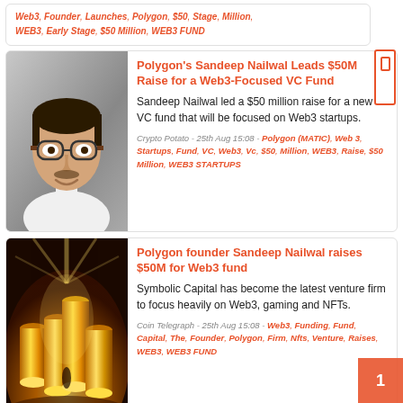Web3, Founder, Launches, Polygon, $50, Stage, Million, WEB3, Early Stage, $50 Million, WEB3 FUND
[Figure (photo): Headshot of Sandeep Nailwal, man with glasses]
Polygon's Sandeep Nailwal Leads $50M Raise for a Web3-Focused VC Fund
Sandeep Nailwal led a $50 million raise for a new VC fund that will be focused on Web3 startups.
Crypto Potato - 25th Aug 15:08 - Polygon (MATIC), Web 3, Startups, Fund, VC, Web3, Vc, $50, Million, WEB3, Raise, $50 Million, WEB3 STARTUPS
[Figure (illustration): Illustration of glowing gold coins stacked in columns with dramatic light beams]
Polygon founder Sandeep Nailwal raises $50M for Web3 fund
Symbolic Capital has become the latest venture firm to focus heavily on Web3, gaming and NFTs.
Coin Telegraph - 25th Aug 15:08 - Web3, Funding, Fund, Capital, The, Founder, Polygon, Firm, Nfts, Venture, Raises, WEB3, WEB3 FUND